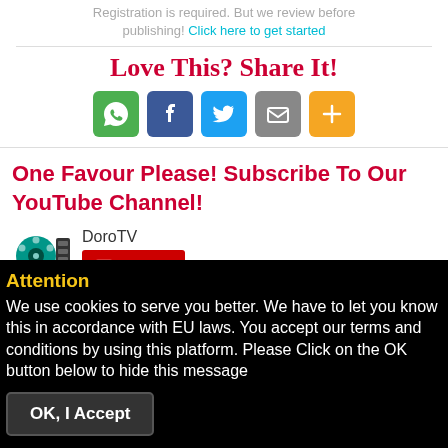Registration is required. But we review before publishing! Click here to get started
Love This? Share It!
[Figure (infographic): Row of five social sharing icon buttons: WhatsApp (green), Facebook (blue), Twitter (light blue), Email (grey), More/Plus (orange)]
One Favour Please! Subscribe To Our YouTube Channel!
[Figure (logo): DoroTV channel logo with film reel icon, YouTube subscribe button, and subscriber count ~468k]
Attention
We use cookies to serve you better. We have to let you know this in accordance with EU laws. You accept our terms and conditions by using this platform. Please Click on the OK button below to hide this message
OK, I Accept